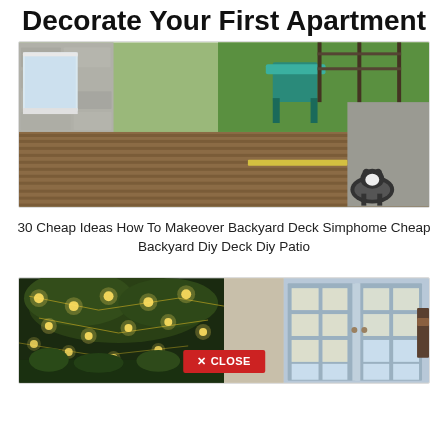Decorate Your First Apartment
[Figure (photo): Outdoor wooden pallet deck with a teal plastic chair in the background and a black and white cat sitting on the deck. Stone wall and gravel border visible.]
30 Cheap Ideas How To Makeover Backyard Deck Simphome Cheap Backyard Diy Deck Diy Patio
[Figure (photo): Split image: left side shows outdoor string lights hanging in a lush garden at night; right side shows a white French door with warm interior lighting visible through the glass panes. A red CLOSE button is visible at the bottom center.]